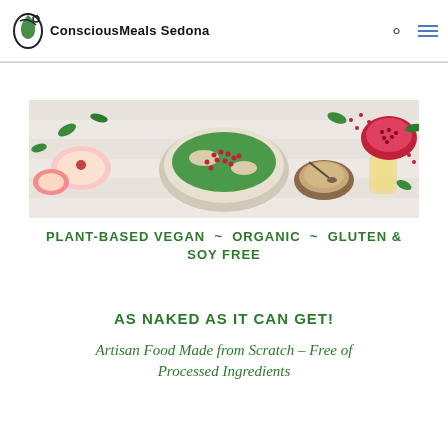ConsciousMeals Sedona
[Figure (photo): Top-down photo of a salad bowl with pomegranate seeds, spinach leaves, apple slices, a small bowl of dressing, and a halved pomegranate on a white wooden surface]
PLANT-BASED VEGAN ~ ORGANIC ~ GLUTEN & SOY FREE
AS NAKED AS IT CAN GET!
Artisan Food Made from Scratch – Free of Processed Ingredients